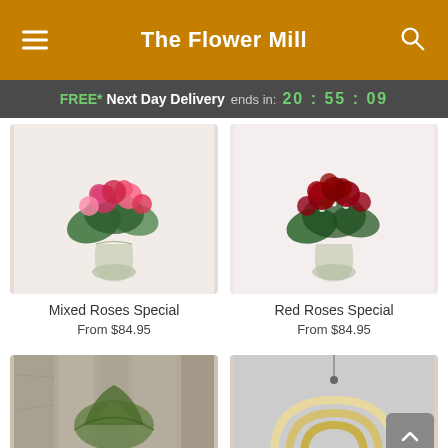The Flower Mill
FREE* Next Day Delivery ends in: 20 : 55 : 09
[Figure (photo): Mixed roses bouquet in a glass vase with pink and red roses and green foliage on a white background]
Mixed Roses Special
From $84.95
[Figure (photo): Red roses bouquet in a glass vase with dark red roses and green foliage on a pink/white background]
Red Roses Special
From $84.95
[Figure (photo): Air plant or tillandsia arrangement against a rustic wood background]
[Figure (photo): Decorative rainbow arch wall hanging on a grey background with a scroll-up button overlay]